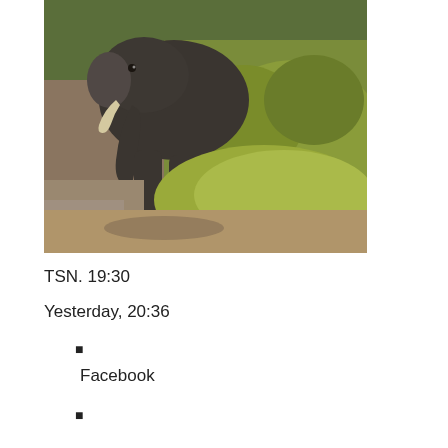[Figure (photo): A close-up photograph of an elephant near vegetation and a road, showing the elephant's trunk, legs, and surrounding green shrubs/hay on a dirt/road surface.]
TSN. 19:30
Yesterday, 20:36
■
Facebook
■